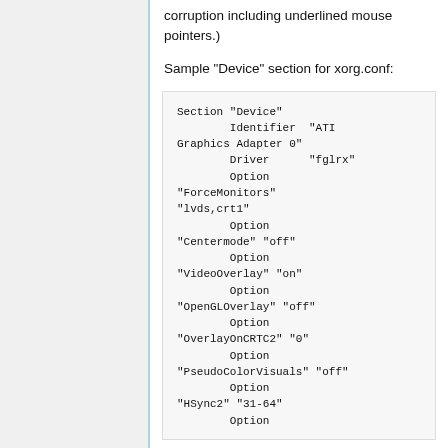corruption including underlined mouse pointers.)
Sample "Device" section for xorg.conf:
[Figure (screenshot): Code block showing a sample xorg.conf Device section with settings for ATI Graphics Adapter including ForceMonitors, Centermode, VideoOverlay, OpenGLOverlay, OverlayOnCRTC2, PseudoColorVisuals, HSync2 options, and more.]